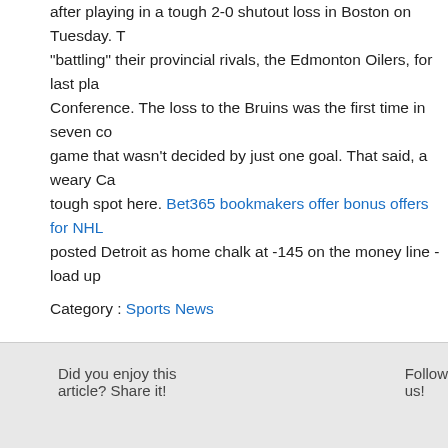after playing in a tough 2-0 shutout loss in Boston on Tuesday. T "battling" their provincial rivals, the Edmonton Oilers, for last pla Conference. The loss to the Bruins was the first time in seven co game that wasn't decided by just one goal. That said, a weary Ca tough spot here. Bet365 bookmakers offer bonus offers for NHL posted Detroit as home chalk at -145 on the money line - load up
Category : Sports News
Did you enjoy this article? Share it!
Follow us!
Share this page
https://www.onlinebettingcanada.ca